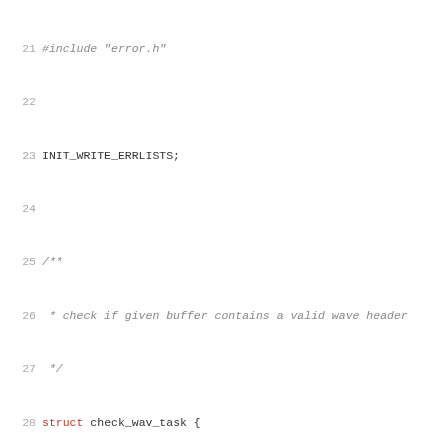Source code listing lines 21-52 showing C struct definitions for check_wav_task and initial_delay_task